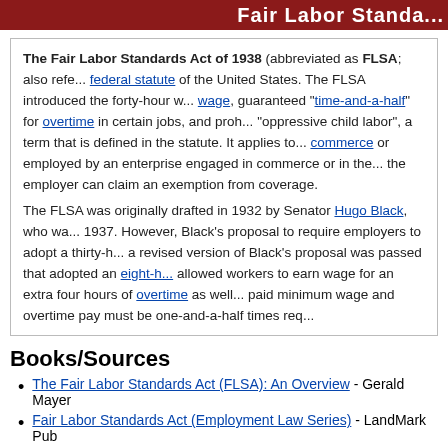Fair Labor Standa...
The Fair Labor Standards Act of 1938 (abbreviated as FLSA; also refe... federal statute of the United States. The FLSA introduced the forty-hour w... wage, guaranteed "time-and-a-half" for overtime in certain jobs, and proh... "oppressive child labor", a term that is defined in the statute. It applies to... commerce or employed by an enterprise engaged in commerce or in the... the employer can claim an exemption from coverage.

The FLSA was originally drafted in 1932 by Senator Hugo Black, who wa... 1937. However, Black's proposal to require employers to adopt a thirty-h... a revised version of Black's proposal was passed that adopted an eight-h... allowed workers to earn wage for an extra four hours of overtime as well... paid minimum wage and overtime pay must be one-and-a-half times req...
Books/Sources
The Fair Labor Standards Act (FLSA): An Overview - Gerald Mayer
Fair Labor Standards Act (Employment Law Series) - LandMark Pub
Youtube
LAW 531/631: Class 13 - Fair Labor Standards Act (FLSA Part 1)